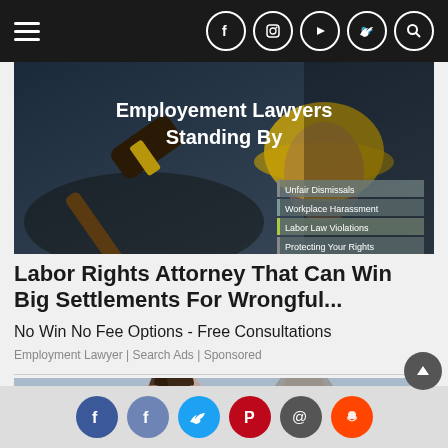Navigation bar with hamburger menu and social icons (Facebook, Instagram, YouTube, Twitter, Search)
[Figure (photo): Advertisement image showing a judge's gavel and a worker in a yellow hard hat with text 'Employement Lawyers Standing By' and list items: Unfair Dismissals, Workplace Harassment, Labor Law Violations, Protecting Your Rights]
Labor Rights Attorney That Can Win Big Settlements For Wrongful...
No Win No Fee Options - Free Consultations
Employment Lawyer | Search Ads | Sponsored
[Figure (photo): Partial image of a person with hands on head (distressed)]
Social sharing icons: Facebook, Facebook, Twitter, Pinterest, Email, Reddit